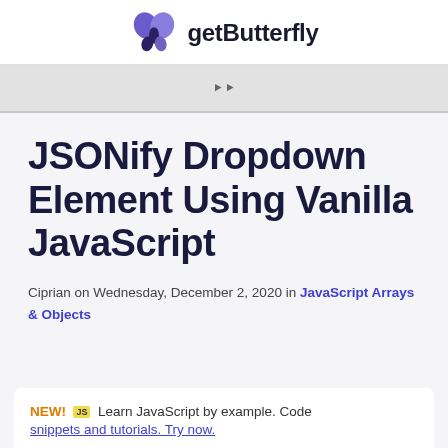getButterfly
JSONify Dropdown Element Using Vanilla JavaScript
Ciprian on Wednesday, December 2, 2020 in JavaScript Arrays & Objects
NEW! JS Learn JavaScript by example. Code